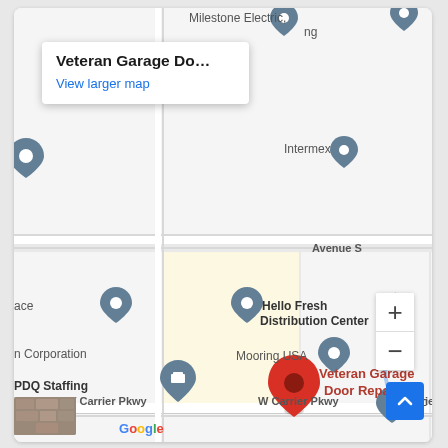[Figure (map): Google Maps screenshot showing Veteran Garage Door Repair location near W Carrier Pkwy, Grand Prairie/Dallas area. Nearby landmarks include Hello Fresh Distribution Center, Mooring USA, PDQ Staffing, Building Material Products-Dallas, International Paper, Milestone Electric, Intermex. Streets visible: Avenue S, W Carrier Pkwy, Avenue R. Map shows red location pin for Veteran Garage Door Repair with info popup overlay. Zoom controls and Google logo visible.]